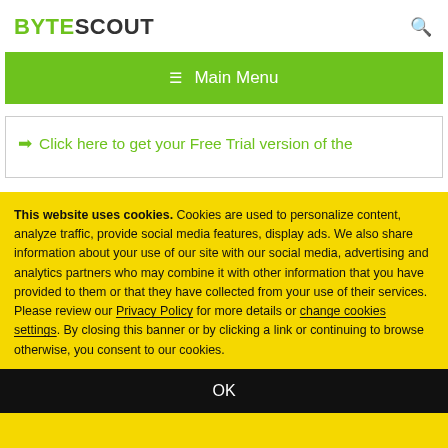BYTESCOUT
[Figure (other): Green navigation bar with hamburger icon and 'Main Menu' text]
➜ Click here to get your Free Trial version of the
This website uses cookies. Cookies are used to personalize content, analyze traffic, provide social media features, display ads. We also share information about your use of our site with our social media, advertising and analytics partners who may combine it with other information that you have provided to them or that they have collected from your use of their services. Please review our Privacy Policy for more details or change cookies settings. By closing this banner or by clicking a link or continuing to browse otherwise, you consent to our cookies.
OK